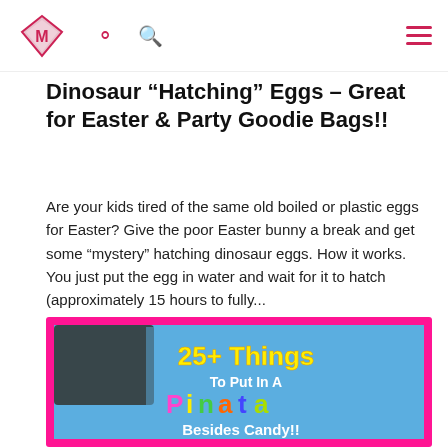Dinosaur “Hatching” Eggs – Great for Easter & Party Goodie Bags!!
Are your kids tired of the same old boiled or plastic eggs for Easter? Give the poor Easter bunny a break and get some “mystery” hatching dinosaur eggs. How it works. You just put the egg in water and wait for it to hatch (approximately 15 hours to fully...
[Figure (infographic): Colorful infographic image with bright yellow and multicolor text reading '25+ Things To Put In A Pinata Besides Candy!!' over a photo of a pinata hanging from a tree branch against a blue sky, with a hot pink border.]